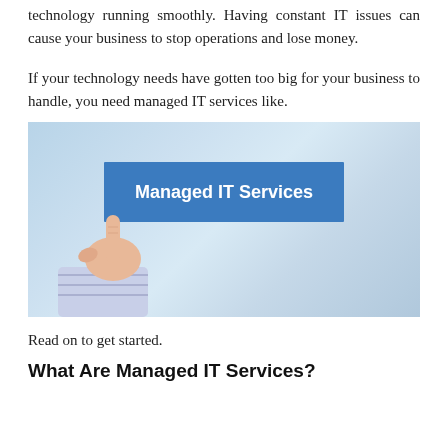technology running smoothly. Having constant IT issues can cause your business to stop operations and lose money.
If your technology needs have gotten too big for your business to handle, you need managed IT services like.
[Figure (photo): A hand holding up a blue banner sign that reads 'Managed IT Services' against a blurred office background.]
Read on to get started.
What Are Managed IT Services?